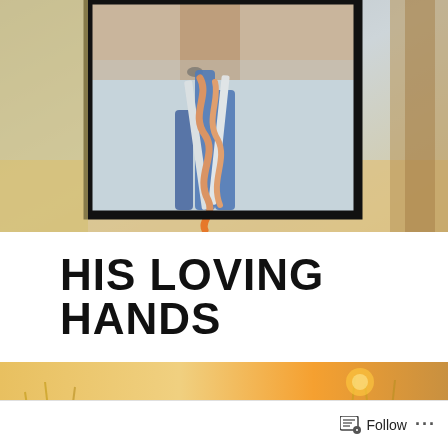[Figure (photo): Close-up photo of hands holding a blue, white, and orange braided rope or leash, with blurred outdoor background. Image is framed with a thick black border. Background shows golden field and tree on right side.]
HIS LOVING HANDS
[Figure (photo): Warm golden-toned outdoor photo of sunlit grass/wheat field with blurred background at bottom of page.]
Follow ...